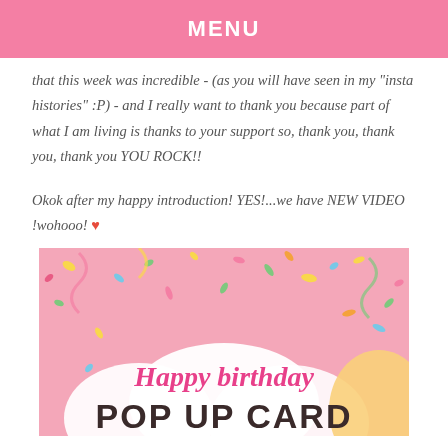MENU
that this week was incredible - (as you will have seen in my "insta histories" :P) - and I really want to thank you because part of what I am living is thanks to your support so, thank you, thank you, thank you YOU ROCK!!
Okok after my happy introduction! YES!...we have NEW VIDEO !wohooo! ♥
[Figure (photo): Birthday pop-up card thumbnail image with pink confetti background and text 'Happy birthday POP UP CARD']